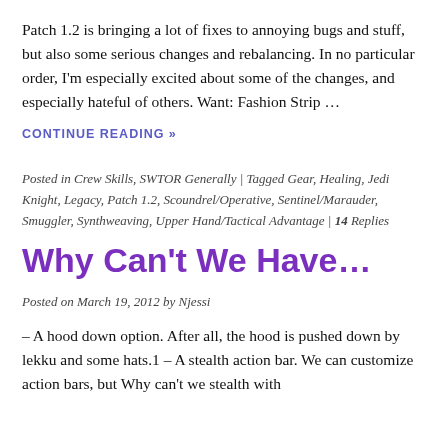Patch 1.2 is bringing a lot of fixes to annoying bugs and stuff, but also some serious changes and rebalancing.  In no particular order, I'm especially excited about some of the changes, and especially hateful of others. Want: Fashion Strip …
CONTINUE READING »
Posted in Crew Skills, SWTOR Generally | Tagged Gear, Healing, Jedi Knight, Legacy, Patch 1.2, Scoundrel/Operative, Sentinel/Marauder, Smuggler, Synthweaving, Upper Hand/Tactical Advantage | 14 Replies
Why Can't We Have…
Posted on March 19, 2012 by Njessi
– A hood down option.  After all, the hood is pushed down by lekku and some hats.1 – A stealth action bar. We can customize action bars, but Why can't we stealth with